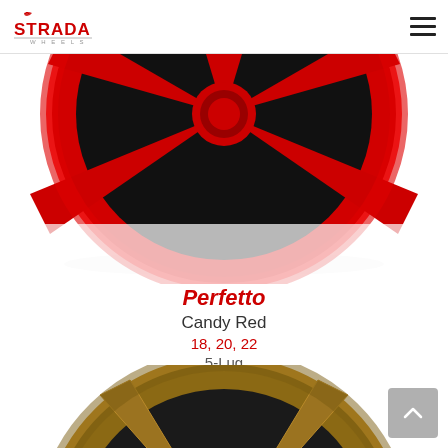Strada Wheels logo and navigation menu
[Figure (photo): Close-up partial view of a red Strada Perfetto wheel, candy red finish, showing spokes and rim from a top-down angle on white background]
Perfetto
Candy Red
18, 20, 22
5-Lug
[Figure (photo): Strada Perfetto wheel in matte bronze/gold finish, 5-spoke design, full wheel view with Strada center cap, on white background]